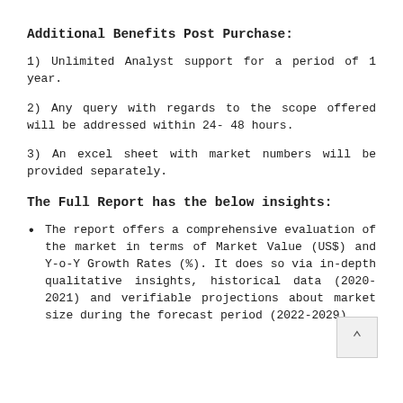Additional Benefits Post Purchase:
1) Unlimited Analyst support for a period of 1 year.
2) Any query with regards to the scope offered will be addressed within 24- 48 hours.
3) An excel sheet with market numbers will be provided separately.
The Full Report has the below insights:
The report offers a comprehensive evaluation of the market in terms of Market Value (US$) and Y-o-Y Growth Rates (%). It does so via in-depth qualitative insights, historical data (2020-2021) and verifiable projections about market size during the forecast period (2022-2029).